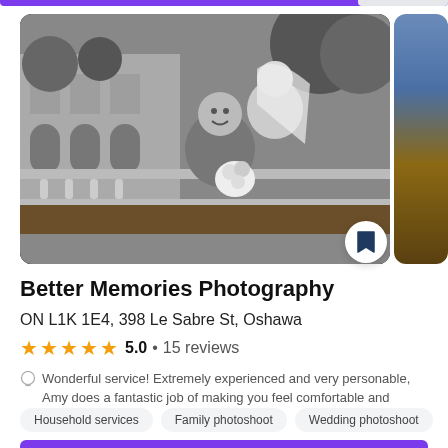[Figure (photo): Black and white wedding photo of a smiling groom leaning on a railing while the bride kisses him on the cheek, holding a white bouquet, with an ornate building in the background. A partial photo of stairs/interior visible at far right.]
Better Memories Photography
ON L1K 1E4, 398 Le Sabre St, Oshawa
★★★★★ 5.0 • 15 reviews
Wonderful service! Extremely experienced and very personable, Amy does a fantastic job of making you feel comfortable and confident in fro…
Household services
Family photoshoot
Wedding photoshoot